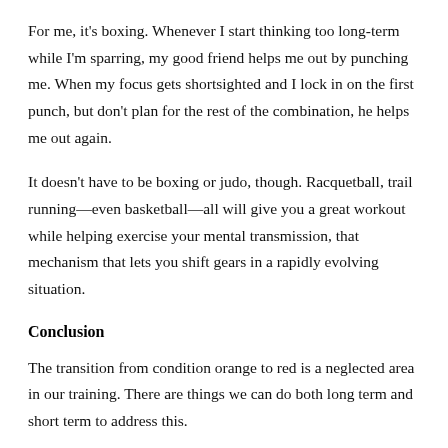For me, it's boxing. Whenever I start thinking too long-term while I'm sparring, my good friend helps me out by punching me. When my focus gets shortsighted and I lock in on the first punch, but don't plan for the rest of the combination, he helps me out again.
It doesn't have to be boxing or judo, though. Racquetball, trail running—even basketball—all will give you a great workout while helping exercise your mental transmission, that mechanism that lets you shift gears in a rapidly evolving situation.
Conclusion
The transition from condition orange to red is a neglected area in our training. There are things we can do both long term and short term to address this.
It starts with a discussion. Debrief with your squad after those calls that maybe could have gone better. Your list of physical and mental